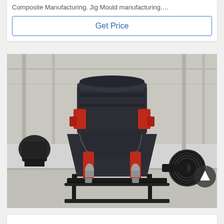Composite Manufacturing. Jig Mould manufacturing....
Get Price
[Figure (photo): Large industrial cone crusher machine with dark grey body, red hydraulic components, and a black drive pulley on the right side, displayed in a factory/warehouse setting with other machinery visible in the background.]